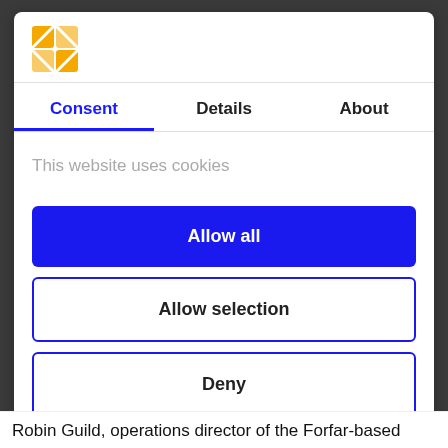[Figure (logo): Yellow/orange pinwheel logo with four quadrants]
Consent | Details | About
This website uses cookies
Allow all
Allow selection
Deny
Powered by Cookiebot by Usercentrics
Robin Guild, operations director of the Forfar-based